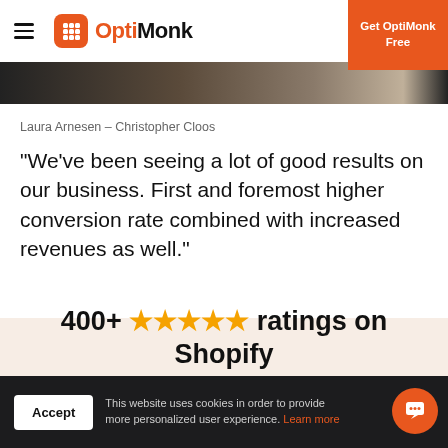OptiMonk — Get OptiMonk Free
[Figure (photo): Dark image strip at top of page, appears to be a device or laptop screen]
Laura Arnesen – Christopher Cloos
“We’ve been seeing a lot of good results on our business. First and foremost higher conversion rate combined with increased revenues as well.”
400+ ★★★★★ ratings on Shopify
This website uses cookies in order to provide more personalized user experience. Learn more